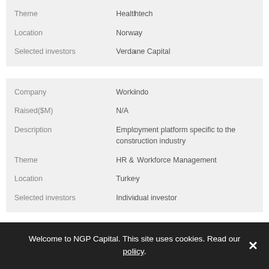| Field | Value |
| --- | --- |
| Theme | Healthtech |
| Location | Norway |
| Selected investors | Verdane Capital |
| Field | Value |
| --- | --- |
| Company | Workindo |
| Raised($M) | N/A |
| Description | Employment platform specific to the construction industry |
| Theme | HR & Workforce Management |
| Location | Turkey |
| Selected investors | Individual investor |
| Field | Value |
| --- | --- |
| Company | Skyworker |
| Raised($M) | N/A |
Welcome to NGP Capital. This site uses cookies. Read our policy.